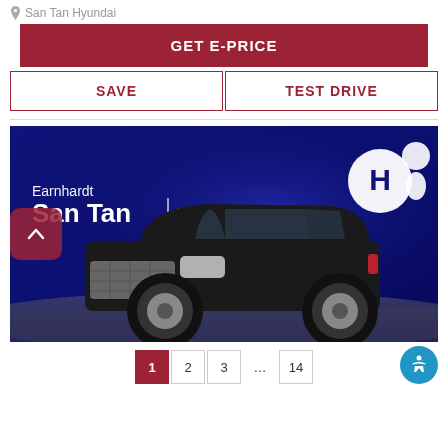San Tan Hyundai
GET E-PRICE
SAVE
TEST DRIVE
[Figure (photo): Earnhardt San Tan Hyundai dealership advertisement showing a black Hyundai SUV (Venue) on a dark blue background with the Hyundai logo and Earnhardt San Tan Hyundai branding]
1  2  3  ...  14